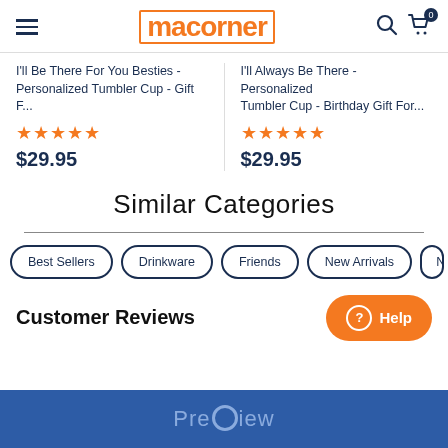macorner
I'll Be There For You Besties - Personalized Tumbler Cup - Gift F...
★★★★★ $29.95
I'll Always Be There - Personalized Tumbler Cup - Birthday Gift For...
★★★★★ $29.95
Similar Categories
Best Sellers
Drinkware
Friends
New Arrivals
New...
Customer Reviews
Preview